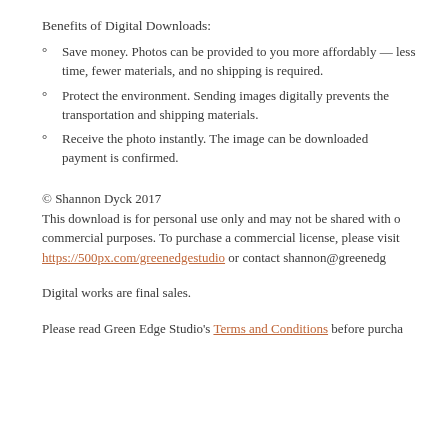Benefits of Digital Downloads:
Save money. Photos can be provided to you more affordably — less time, fewer materials, and no shipping is required.
Protect the environment. Sending images digitally prevents the use of transportation and shipping materials.
Receive the photo instantly. The image can be downloaded as soon as payment is confirmed.
© Shannon Dyck 2017
This download is for personal use only and may not be shared with others or used for commercial purposes. To purchase a commercial license, please visit https://500px.com/greenedgestudio or contact shannon@greenedgestudio
Digital works are final sales.
Please read Green Edge Studio's Terms and Conditions before purchasing.